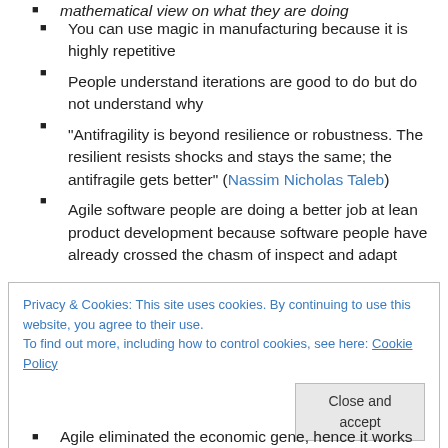You can use magic in manufacturing because it is highly repetitive
People understand iterations are good to do but do not understand why
“Antifragility is beyond resilience or robustness. The resilient resists shocks and stays the same; the antifragile gets better” (Nassim Nicholas Taleb)
Agile software people are doing a better job at lean product development because software people have already crossed the chasm of inspect and adapt
Privacy & Cookies: This site uses cookies. By continuing to use this website, you agree to their use.
To find out more, including how to control cookies, see here: Cookie Policy
Agile eliminated the economic gene, hence it works